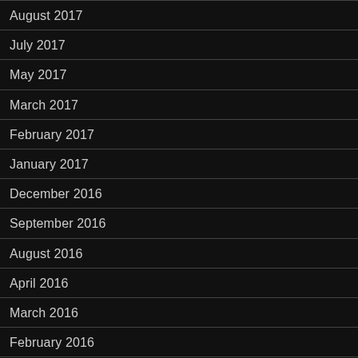August 2017
July 2017
May 2017
March 2017
February 2017
January 2017
December 2016
September 2016
August 2016
April 2016
March 2016
February 2016